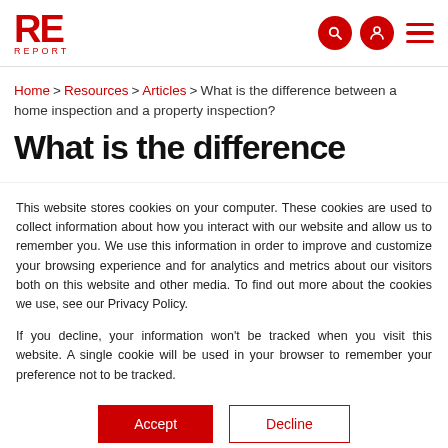RE REPORT — logo header with search, account, and menu icons
Home > Resources > Articles > What is the difference between a home inspection and a property inspection?
What is the difference
This website stores cookies on your computer. These cookies are used to collect information about how you interact with our website and allow us to remember you. We use this information in order to improve and customize your browsing experience and for analytics and metrics about our visitors both on this website and other media. To find out more about the cookies we use, see our Privacy Policy.
If you decline, your information won't be tracked when you visit this website. A single cookie will be used in your browser to remember your preference not to be tracked.
Accept | Decline